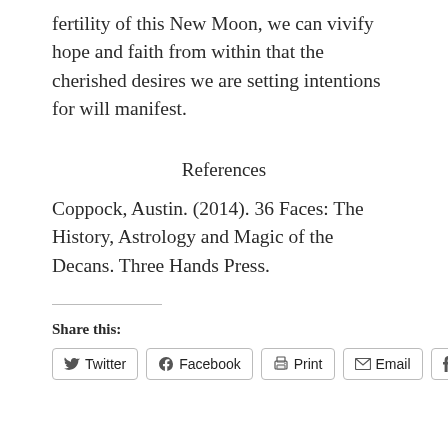fertility of this New Moon, we can vivify hope and faith from within that the cherished desires we are setting intentions for will manifest.
References
Coppock, Austin. (2014). 36 Faces: The History, Astrology and Magic of the Decans. Three Hands Press.
Share this:
Twitter | Facebook | Print | Email | Tumblr